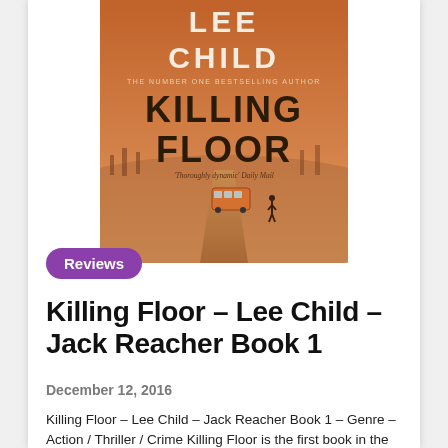[Figure (illustration): Book cover for 'Killing Floor' by Lee Child. Orange/desert background with a road, a bus, and a lone figure walking. Text on cover: 'LEE CHILD', 'THE NUMBER ONE BESTSELLING AUTHOR', 'KILLING FLOOR', 'Thoroughly dynamic Daily Mail']
Reviews
Killing Floor – Lee Child – Jack Reacher Book 1
December 12, 2016
Killing Floor – Lee Child – Jack Reacher Book 1 – Genre – Action / Thriller / Crime Killing Floor is the first book in the internationally popular series about...